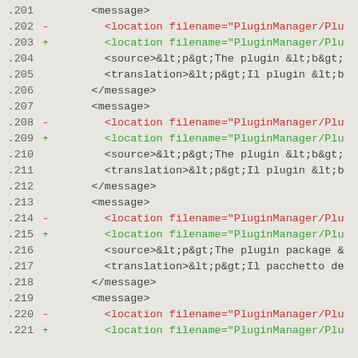Code diff showing XML message blocks with location, source, and translation elements, lines 201-221
.201      <message>
.202 -        <location filename="PluginManager/Plu
.203 +        <location filename="PluginManager/Plu
.204          <source>&lt;p&gt;The plugin &lt;b&gt;
.205          <translation>&lt;p&gt;Il plugin &lt;b
.206      </message>
.207      <message>
.208 -        <location filename="PluginManager/Plu
.209 +        <location filename="PluginManager/Plu
.210          <source>&lt;p&gt;The plugin &lt;b&gt;
.211          <translation>&lt;p&gt;Il plugin &lt;b
.212      </message>
.213      <message>
.214 -        <location filename="PluginManager/Plu
.215 +        <location filename="PluginManager/Plu
.216          <source>&lt;p&gt;The plugin package &
.217          <translation>&lt;p&gt;Il pacchetto de
.218      </message>
.219      <message>
.220 -        <location filename="PluginManager/Plu
.221 +        <location filename="PluginManager/Plu